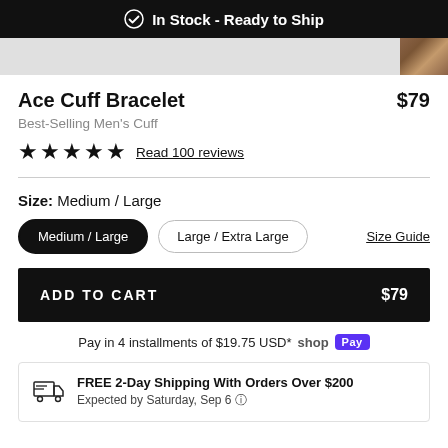In Stock - Ready to Ship
Ace Cuff Bracelet $79
Best-Selling Men's Cuff
★★★★★ Read 100 reviews
Size: Medium / Large
Medium / Large  Large / Extra Large  Size Guide
ADD TO CART  $79
Pay in 4 installments of $19.75 USD* Shop Pay
FREE 2-Day Shipping With Orders Over $200